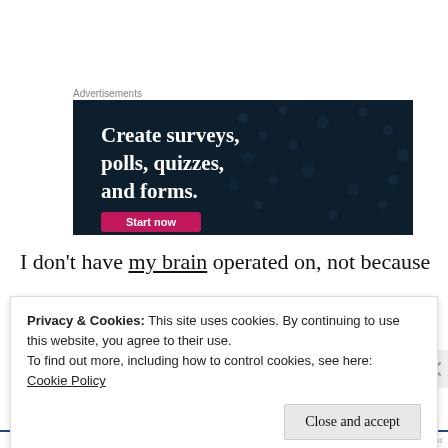Advertisements
[Figure (screenshot): Advertisement banner with dark navy background and dot pattern. Large white bold text reads 'Create surveys, polls, quizzes, and forms.' A pink/magenta 'Start now' button is partially visible at the bottom.]
I don’t have my brain operated on, not because
Privacy & Cookies: This site uses cookies. By continuing to use this website, you agree to their use.
To find out more, including how to control cookies, see here:
Cookie Policy

Close and accept